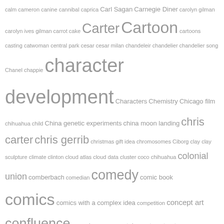[Figure (other): A tag cloud / word cloud showing various search terms or topics in different font sizes indicating relative frequency or importance. Words range from very small to very large, all in gray color on white background.]